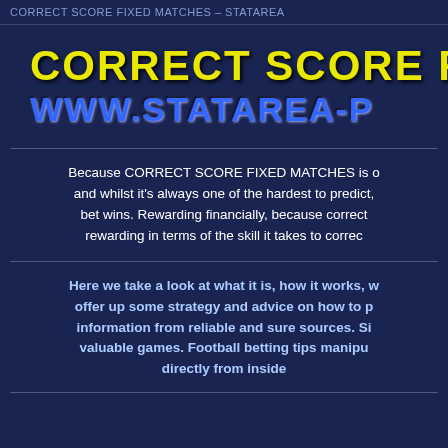CORRECT SCORE FIXED MATCHES – STATAREA
CORRECT SCORE FI
WWW.STATAREA-P
Because CORRECT SCORE FIXED MATCHES is o and whilst it's always one of the hardest to predict, bet wins. Rewarding financially, because correct rewarding in terms of the skill it takes to correc
Here we take a look at what it is, how it works, w offer up some strategy and advice on how to p information from reliable and sure sources. Si valuable games. Football betting tips manipu directly from inside